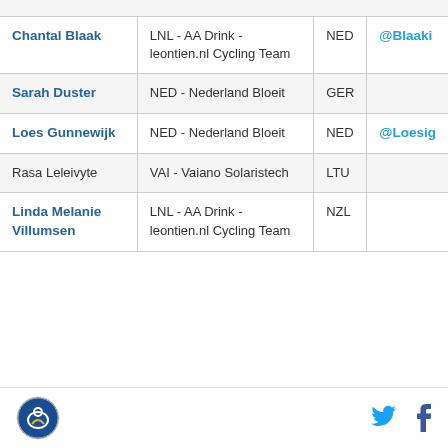| Name | Team | Country | Twitter |
| --- | --- | --- | --- |
| Chantal Blaak | LNL - AA Drink - leontien.nl Cycling Team | NED | @Blaaki |
| Sarah Duster | NED - Nederland Bloeit | GER |  |
| Loes Gunnewijk | NED - Nederland Bloeit | NED | @Loesig |
| Rasa Leleivyte | VAI - Vaiano Solaristech | LTU |  |
| Linda Melanie Villumsen | LNL - AA Drink - leontien.nl Cycling Team | NZL |  |
[Figure (logo): Cycling organization circular logo at bottom left]